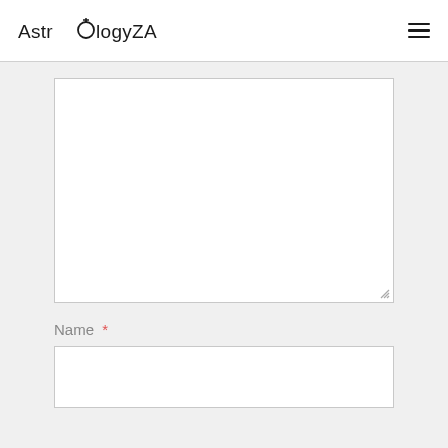AstrologyZA
[Figure (screenshot): Large blank textarea form field with resize handle in bottom-right corner]
Name *
[Figure (screenshot): Single-line text input field for Name]